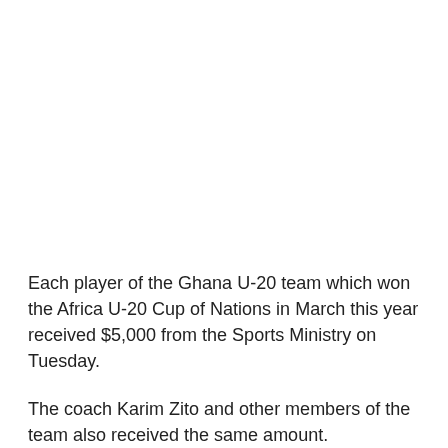Each player of the Ghana U-20 team which won the Africa U-20 Cup of Nations in March this year received $5,000 from the Sports Ministry on Tuesday.
The coach Karim Zito and other members of the team also received the same amount.
When the team arrived from Mauritania, they paid a visit